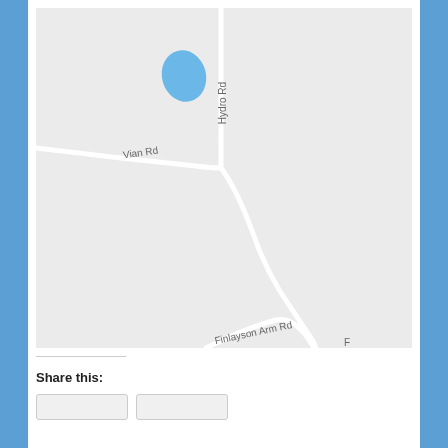[Figure (map): Google-style road map showing Hydro Rd running vertically, Vian Rd intersecting from the left, and Finlayson Arm Rd curving in the lower portion. A small blue water body (pond/lake) is visible in the upper portion near Hydro Rd. The map background is light grey.]
Share this: